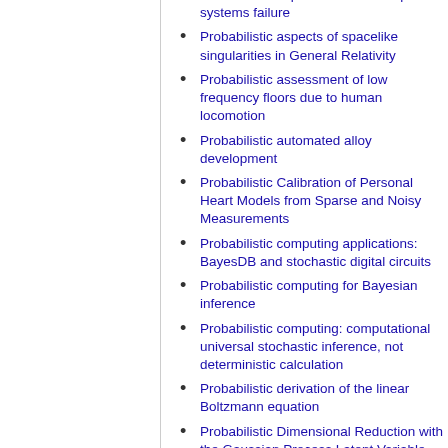Probabilistic aspects of multi-component systems failure
Probabilistic aspects of spacelike singularities in General Relativity
Probabilistic assessment of low frequency floors due to human locomotion
Probabilistic automated alloy development
Probabilistic Calibration of Personal Heart Models from Sparse and Noisy Measurements
Probabilistic computing applications: BayesDB and stochastic digital circuits
Probabilistic computing for Bayesian inference
Probabilistic computing: computational universal stochastic inference, not deterministic calculation
Probabilistic derivation of the linear Boltzmann equation
Probabilistic Dimensional Reduction with the Gaussian Process Latent Variable Model
Probabilistic ergative case in the languages of Manang (Nepal)